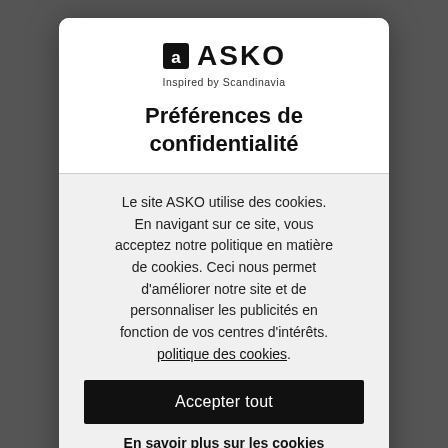[Figure (logo): ASKO logo with shield/square icon and text 'ASKO Inspired by Scandinavia']
Préférences de confidentialité
Le site ASKO utilise des cookies. En navigant sur ce site, vous acceptez notre politique en matière de cookies. Ceci nous permet d'améliorer notre site et de personnaliser les publicités en fonction de vos centres d'intérêts. politique des cookies.
Accepter tout
En savoir plus sur les cookies
Afficher les paramètres des cookies